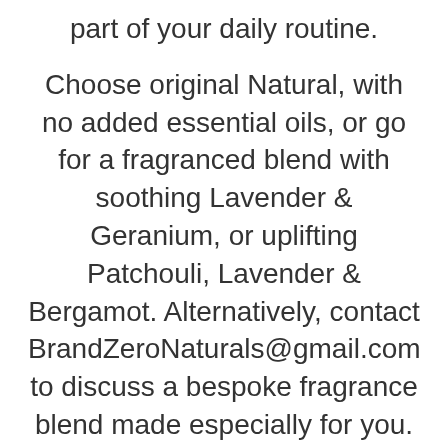part of your daily routine.
Choose original Natural, with no added essential oils, or go for a fragranced blend with soothing Lavender & Geranium, or uplifting Patchouli, Lavender & Bergamot. Alternatively, contact BrandZeroNaturals@gmail.com to discuss a bespoke fragrance blend made especially for you.